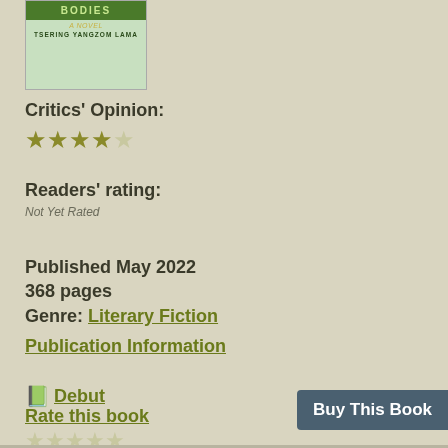[Figure (illustration): Book cover showing title with BODIES text and author name TSERING YANGZOM LAMA, green-themed cover]
Critics' Opinion:
[Figure (other): 4 out of 5 filled gold stars for critics rating]
Readers' rating:
Not Yet Rated
Published May 2022
368 pages
Genre: Literary Fiction
Publication Information
Debut
Rate this book
[Figure (other): 5 empty stars for reader rating]
Write a Review
Buy This Book